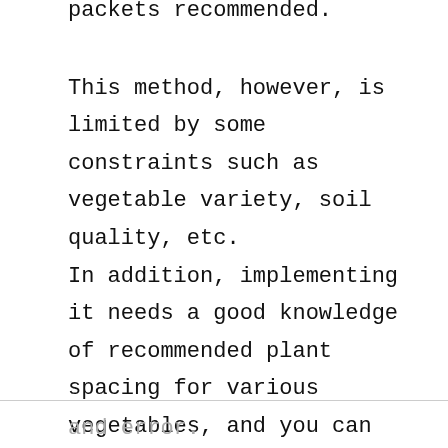packets recommended.
This method, however, is limited by some constraints such as vegetable variety, soil quality, etc.
In addition, implementing it needs a good knowledge of recommended plant spacing for various vegetables, and you can learn to implement it optimally with time through trial
and error.